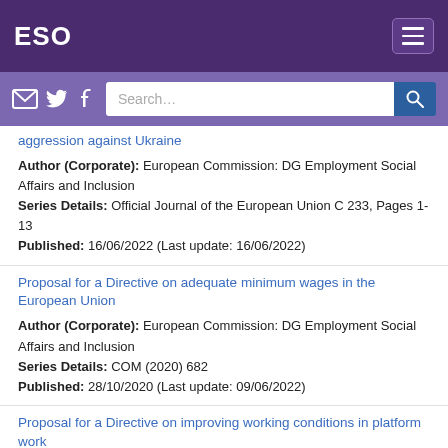ESO
Search...
[partial link] aggression against Ukraine
Author (Corporate): European Commission: DG Employment Social Affairs and Inclusion
Series Details: Official Journal of the European Union C 233, Pages 1-13
Published: 16/06/2022 (Last update: 16/06/2022)
Proposal for a Directive on adequate minimum wages in the European Union
Author (Corporate): European Commission: DG Employment Social Affairs and Inclusion
Series Details: COM (2020) 682
Published: 28/10/2020 (Last update: 09/06/2022)
Proposal for a Directive on improving working conditions in platform work
Author (Corporate): European Commission: DG...